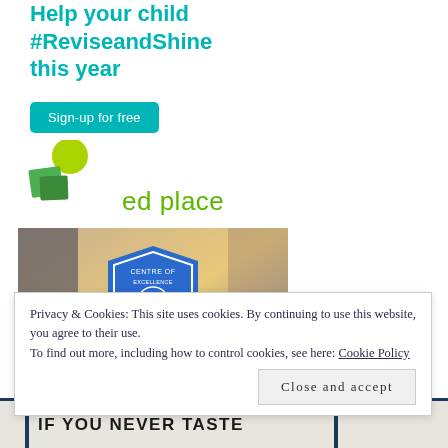Help your child #ReviseandShine this year
Sign-up for free
[Figure (logo): EdPlace logo with green geometric shapes and green 'ed place' text]
[Figure (photo): Photo of person using laptop with a blue 'Centre of Excellence' badge/shield overlay]
Privacy & Cookies: This site uses cookies. By continuing to use this website, you agree to their use.
To find out more, including how to control cookies, see here: Cookie Policy
Close and accept
IF YOU NEVER TASTE